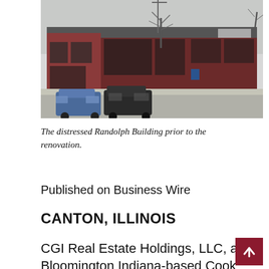[Figure (photo): A photograph of the distressed Randolph Building prior to renovation. Shows a low-rise commercial building with a dark red/maroon brick facade, large storefront windows, a gray roof, bare trees, and parked vehicles including a blue SUV and a black SUV/truck in front on a street.]
The distressed Randolph Building prior to the renovation.
Published on Business Wire
CANTON, ILLINOIS
CGI Real Estate Holdings, LLC, a Bloomington Indiana-based Cook Group